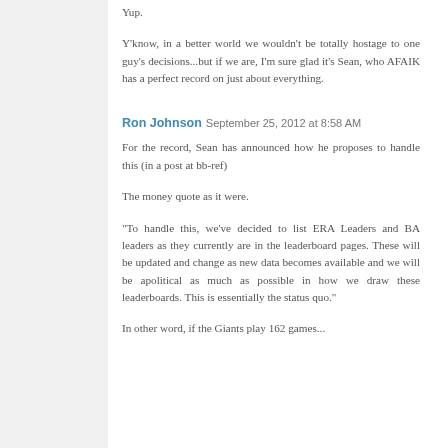Yup.
Y'know, in a better world we wouldn't be totally hostage to one guy's decisions...but if we are, I'm sure glad it's Sean, who AFAIK has a perfect record on just about everything.
Ron Johnson  September 25, 2012 at 8:58 AM
For the record, Sean has announced how he proposes to handle this (in a post at bb-ref)
The money quote as it were.
"To handle this, we've decided to list ERA Leaders and BA leaders as they currently are in the leaderboard pages. These will be updated and change as new data becomes available and we will be apolitical as much as possible in how we draw these leaderboards. This is essentially the status quo."
In other word, if the Giants play 162 games...